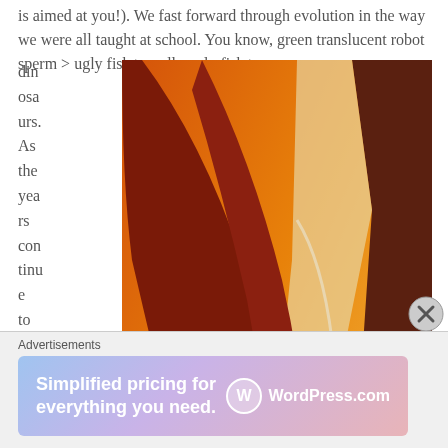is aimed at you!). We fast forward through evolution in the way we were all taught at school. You know, green translucent robot sperm > ugly fish > really ugly fish > din osa urs. As the yea rs con tinu e to pas
[Figure (illustration): A stylized painting of a dinosaur (raptor-like) with a reddish-brown body, blue eye patch, yellow eye, and red tongue/lower jaw, set against an orange and warm-colored background with dark rock formations.]
Advertisements
[Figure (other): WordPress.com advertisement banner with gradient purple-blue-pink background. Text reads: 'Simplified pricing for everything you need.' with WordPress.com logo on the right.]